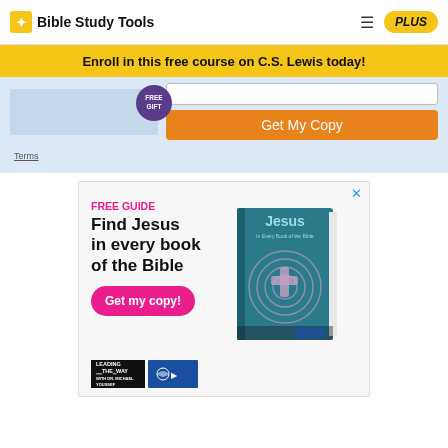Bible Study Tools
Enroll in this free course on C.S. Lewis today!
FREE GIFT
Get My Copy
Terms
[Figure (infographic): Advertisement for a free guide: 'Find Jesus in every book of the Bible' with a pink 'Get my copy!' button, a book image on the right titled 'Jesus in Every Book of the Bible', and logos for Leading the Way at the bottom.]